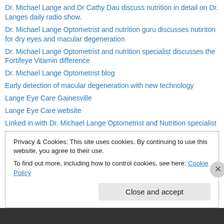Dr. Michael Lange and Dr Cathy Dau discuss nutrition in detail on Dr. Langes daily radio show.
Dr. Michael Lange Optometrist and nutrition guru discusses nutiriton for dry eyes and macular degeneration
Dr. Michael Lange Optometrist and nutrition specialist discusses the Fortifeye Vitamin difference
Dr. Michael Lange Optometrist blog
Early detection of macular degeneration with new technology
Lange Eye Care Gainesville
Lange Eye Care website
Linked in with Dr. Michael Lange Optometrist and Nutrition specialist
Michael Lange OD Facebook
Michael Lange Optometrist on Google Plus
Privacy & Cookies: This site uses cookies. By continuing to use this website, you agree to their use. To find out more, including how to control cookies, see here: Cookie Policy
Close and accept